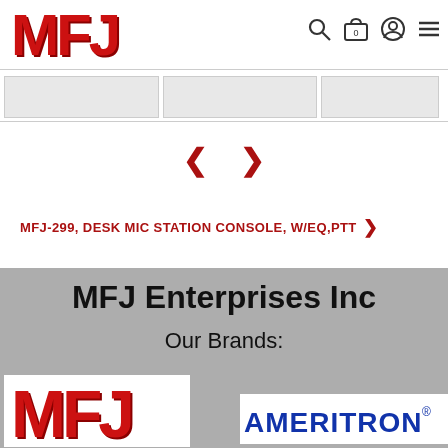[Figure (logo): MFJ red logo in top-left header]
[Figure (screenshot): Navigation icons: search, cart (0), user/account, hamburger menu in top-right header]
[Figure (screenshot): Thumbnail strip with three greyed product image boxes]
[Figure (screenshot): Dark red left and right navigation arrows for image carousel]
MFJ-299, DESK MIC STATION CONSOLE, W/EQ,PTT >
MFJ Enterprises Inc
Our Brands:
[Figure (logo): MFJ red brand logo bottom-left]
[Figure (logo): AMERITRON logo bottom-right, partially visible]